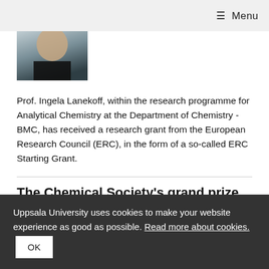≡ Menu
[Figure (photo): Partial photo of a person wearing a black top, cropped to show lower face and shoulders.]
Prof. Ingela Lanekoff, within the research programme for Analytical Chemistry at the Department of Chemistry - BMC, has received a research grant from the European Research Council (ERC), in the form of a so-called ERC Starting Grant.
The Chemical Society's grand prize for best degree project in chemistry 2021
2022-02-04
Uppsala University uses cookies to make your website experience as good as possible. Read more about cookies. OK